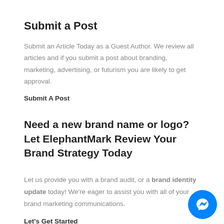Submit a Post
Submit an Article Today as a Guest Author. We review all articles and if you submit a post about branding, marketing, advertising, or futurism you are likely to get approval.
Submit A Post
Need a new brand name or logo? Let ElephantMark Review Your Brand Strategy Today
Let us provide you with a brand audit, or a brand identity update today! We’re eager to assist you with all of your brand marketing communications.
Let’s Get Started